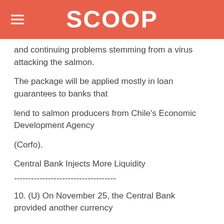SCOOP
and continuing problems stemming from a virus attacking the salmon.
The package will be applied mostly in loan guarantees to banks that
lend to salmon producers from Chile's Economic Development Agency
(Corfo).
Central Bank Injects More Liquidity
------------------------------------
10. (U) On November 25, the Central Bank provided another currency
swap to maintain liquidity levels in the banking sector. The Bank
offered $500 million for 31 days. Banks were able to